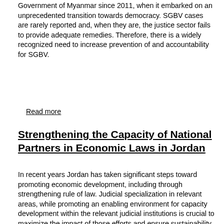Government of Myanmar since 2011, when it embarked on an unprecedented transition towards democracy. SGBV cases are rarely reported and, when they are, the justice sector fails to provide adequate remedies. Therefore, there is a widely recognized need to increase prevention of and accountability for SGBV.
Read more
Strengthening the Capacity of National Partners in Economic Laws in Jordan
In recent years Jordan has taken significant steps toward promoting economic development, including through strengthening rule of law. Judicial specialization in relevant areas, while promoting an enabling environment for capacity development within the relevant judicial institutions is crucial to maximize the impact of those efforts and ensure sustainability. At the same time, attention has been given to encouraging entrepreneurship, in particular women entrepreneurs, as a means to achieve economic growth.